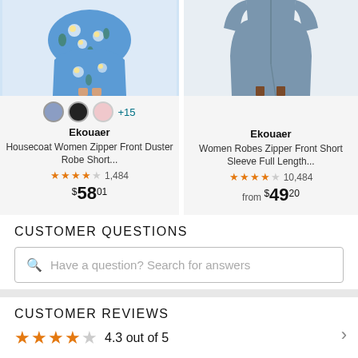[Figure (photo): Left product: Ekouaer Housecoat Women Zipper Front Duster Robe - blue floral dress shown on model, cropped at waist down. Right product: Ekouaer Women Robes Zipper Front Short Sleeve Full Length - solid blue-grey robe on model.]
Ekouaer Housecoat Women Zipper Front Duster Robe Short... ★★★★☆ 1,484 $58.01
Ekouaer Women Robes Zipper Front Short Sleeve Full Length... ★★★★☆ 10,484 from $49.20
CUSTOMER QUESTIONS
Have a question? Search for answers
CUSTOMER REVIEWS
4.3 out of 5